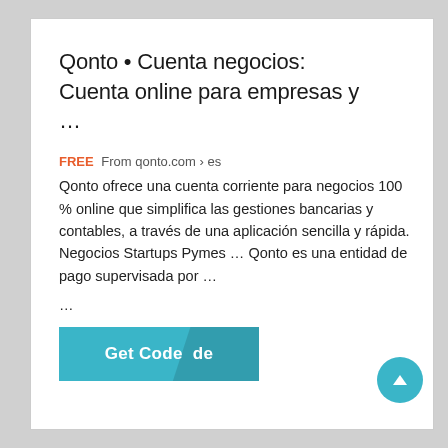Qonto • Cuenta negocios: Cuenta online para empresas y ...
FREE From qonto.com › es
Qonto ofrece una cuenta corriente para negocios 100 % online que simplifica las gestiones bancarias y contables, a través de una aplicación sencilla y rápida. Negocios Startups Pymes ... Qonto es una entidad de pago supervisada por ...
...
[Figure (other): Teal 'Get Code' button with a diagonal dark overlay design element]